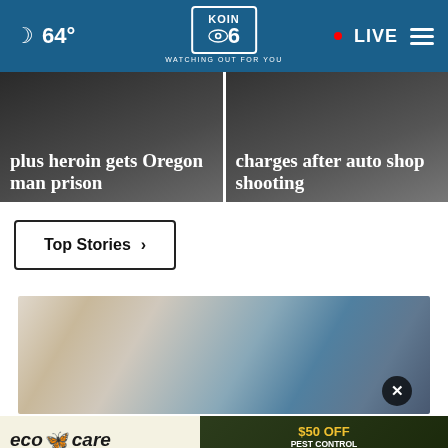64° KOIN 6 CBS WATCHING OUT FOR YOU · LIVE
plus heroin gets Oregon man prison
charges after auto shop shooting
Top Stories ›
[Figure (photo): Close-up photo of feet wearing blue woven slip-on espadrille shoes with white jeans]
[Figure (other): eco care PEST CONTROL advertisement banner — $50 OFF PEST CONTROL TREATMENT CLICK NOW]